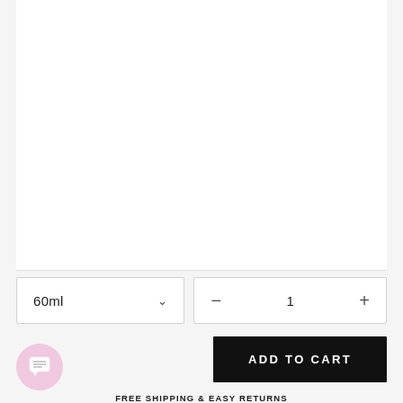[Figure (photo): White product image area (blank/empty white background)]
60ml
1
ADD TO CART
FREE SHIPPING & EASY RETURNS